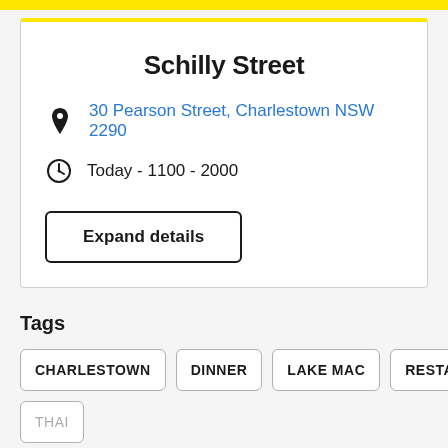Schilly Street
30 Pearson Street, Charlestown NSW 2290
Today - 1100 - 2000
Expand details
Tags
CHARLESTOWN
DINNER
LAKE MAC
RESTAURANT
THAI